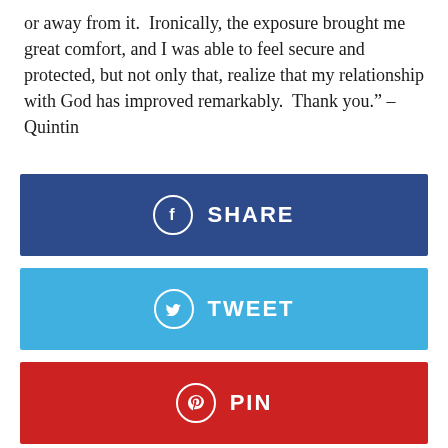or away from it.  Ironically, the exposure brought me great comfort, and I was able to feel secure and protected, but not only that, realize that my relationship with God has improved remarkably.  Thank you." – Quintin
[Figure (infographic): Four social sharing buttons stacked vertically: Facebook SHARE (dark blue), Twitter TWEET (light blue), Pinterest PIN (red), Google+ +1 (orange-red)]